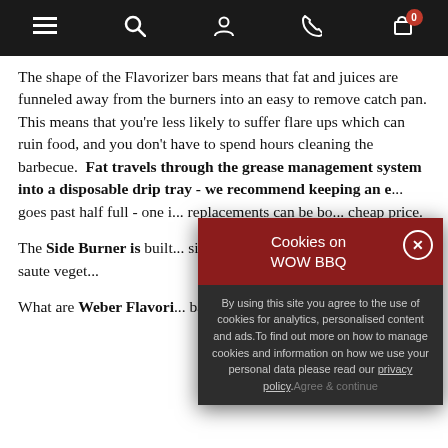Navigation bar with menu, search, account, phone, and cart icons (0 items)
The shape of the Flavorizer bars means that fat and juices are funneled away from the burners into an easy to remove catch pan. This means that you're less likely to suffer flare ups which can ruin food, and you don't have to spend hours cleaning the barbecue.  Fat travels through the grease management system into a disposable drip tray - we recommend keeping an e... goes past half full - one i... replacements can be bo... cheap price.
The Side Burner is built... side table can be used as... use a pan to saute veget...
What are Weber Flavori... bars sit straight above th...
[Figure (screenshot): Cookie consent popup overlay with dark red header reading 'Cookies on WOW BBQ' with an X close button, and dark grey body text: 'By using this site you agree to the use of cookies for analytics, personalised content and ads. To find out more on how to manage cookies and information on how we use your personal data please read our privacy policy. Agree & continue']